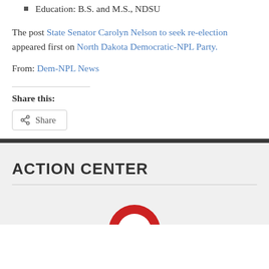Education: B.S. and M.S., NDSU
The post State Senator Carolyn Nelson to seek re-election appeared first on North Dakota Democratic-NPL Party.
From: Dem-NPL News
Share this:
[Figure (other): Share button with share icon]
ACTION CENTER
[Figure (logo): Partial circular red logo at bottom of page]